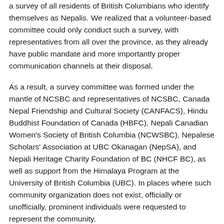a survey of all residents of British Columbians who identify themselves as Nepalis. We realized that a volunteer-based committee could only conduct such a survey, with representatives from all over the province, as they already have public mandate and more importantly proper communication channels at their disposal.
As a result, a survey committee was formed under the mantle of NCSBC and representatives of NCSBC, Canada Nepal Friendship and Cultural Society (CANFACS), Hindu Buddhist Foundation of Canada (HBFC), Nepali Canadian Women's Society of British Columbia (NCWSBC), Nepalese Scholars' Association at UBC Okanagan (NepSA), and Nepali Heritage Charity Foundation of BC (NHCF BC), as well as support from the Himalaya Program at the University of British Columbia (UBC). In places where such community organization does not exist, officially or unofficially, prominent individuals were requested to represent the community.
The survey was officially launched on the Family Day (15th February